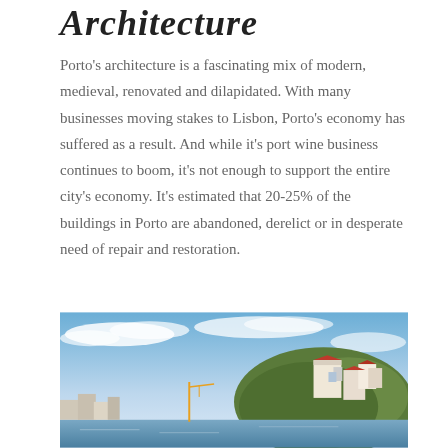Architecture
Porto's architecture is a fascinating mix of modern, medieval, renovated and dilapidated. With many businesses moving stakes to Lisbon, Porto's economy has suffered as a result. And while it's port wine business continues to boom, it's not enough to support the entire city's economy. It's estimated that 20-25% of the buildings in Porto are abandoned, derelict or in desperate need of repair and restoration.
[Figure (photo): A photo of Porto's cityscape showing buildings on a hillside under a blue sky with clouds, with white and terracotta-roofed buildings visible.]